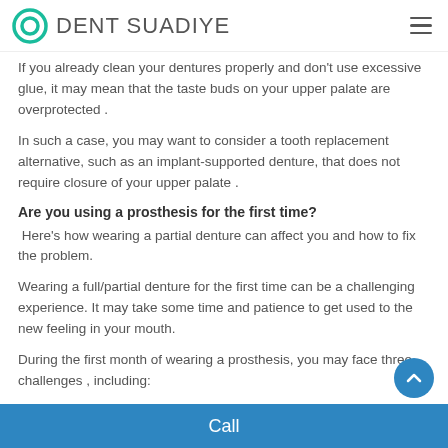Dent Suadiye
If you already clean your dentures properly and don't use excessive glue, it may mean that the taste buds on your upper palate are overprotected .
In such a case, you may want to consider a tooth replacement alternative, such as an implant-supported denture, that does not require closure of your upper palate .
Are you using a prosthesis for the first time?
Here's how wearing a partial denture can affect you and how to fix the problem.
Wearing a full/partial denture for the first time can be a challenging experience. It may take some time and patience to get used to the new feeling in your mouth.
During the first month of wearing a prosthesis, you may face three challenges , including:
Call